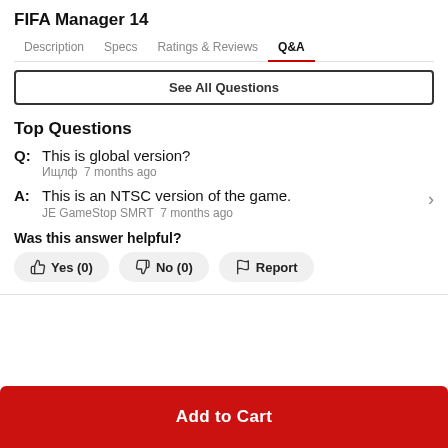FIFA Manager 14
Description   Specs   Ratings & Reviews   Q&A
See All Questions
Top Questions
Q: This is global version? Ищлф 7 months ago
A: This is an NTSC version of the game. JE GameStop SMRT 7 months ago
Was this answer helpful?
Yes (0)   No (0)   Report
Add to Cart